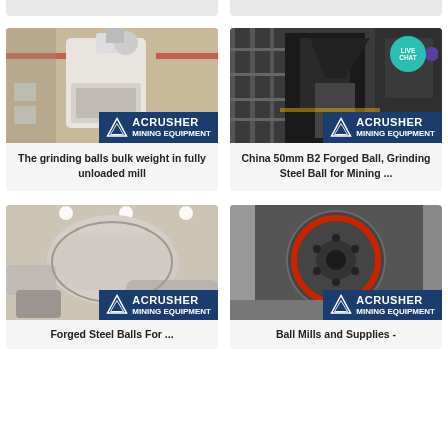[Figure (photo): Partial top-left card showing industrial grinding mill equipment (cropped at top)]
[Figure (photo): Partial top-right card showing industrial equipment (cropped at top)]
[Figure (photo): Industrial grinding mill with ACRUSHER MINING EQUIPMENT logo overlay. Left middle card.]
The grinding balls bulk weight in fully unloaded mill
[Figure (photo): Industrial steel ball grinding facility with LIVE CHAT bubble and ACRUSHER MINING EQUIPMENT logo overlay. Right middle card.]
China 50mm B2 Forged Ball, Grinding Steel Ball for Mining ...
[Figure (photo): Large industrial pipe/blower equipment with ACRUSHER MINING EQUIPMENT logo. Bottom-left card.]
Forged Steel Balls For ...
[Figure (photo): Close-up of circular grinding mill component with red ring and bolt pattern, ACRUSHER MINING EQUIPMENT logo. Bottom-right card.]
Ball Mills and Supplies -